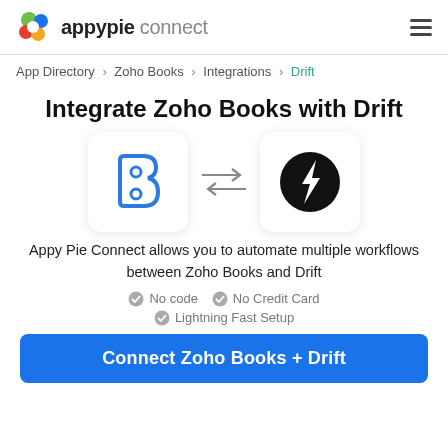appypie connect
App Directory > Zoho Books > Integrations > Drift
Integrate Zoho Books with Drift
[Figure (illustration): Zoho Books logo icon (blue outlined B shape with two circles) and Drift logo icon (black circle with white lightning bolt), connected by bidirectional arrows]
Appy Pie Connect allows you to automate multiple workflows between Zoho Books and Drift
No code
No Credit Card
Lightning Fast Setup
Connect Zoho Books + Drift